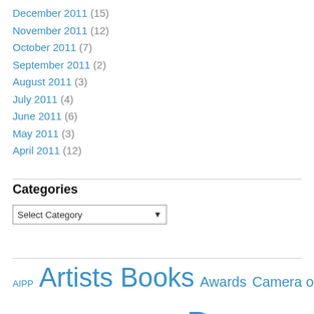December 2011 (15)
November 2011 (12)
October 2011 (7)
September 2011 (2)
August 2011 (3)
July 2011 (4)
June 2011 (6)
May 2011 (3)
April 2011 (12)
Categories
Select Category
AIPP Artists Books Awards Camera obscura Cooper+Spowart workshops Cyanotypes Doug